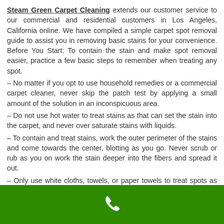Steam Green Carpet Cleaning extends our customer service to our commercial and residential customers in Los Angeles, California online. We have compiled a simple carpet spot removal guide to assist you in removing basic stains for your convenience. Before You Start: To contain the stain and make spot removal easier, practice a few basic steps to remember when treating any spot.
– No matter if you opt to use household remedies or a commercial carpet cleaner, never skip the patch test by applying a small amount of the solution in an inconspicuous area.
– Do not use hot water to treat stains as that can set the stain into the carpet, and never over saturate stains with liquids.
– To contain and treat stains, work the outer perimeter of the stains and come towards the center, blotting as you go. Never scrub or rub as you on work the stain deeper into the fibers and spread it out.
– Only use white cloths, towels, or paper towels to treat spots as dyes and print can potentially transfer onto carpet while you are trying to remove a stain, leaving you with more problems.
[Figure (other): Green footer bar with a white phone icon]